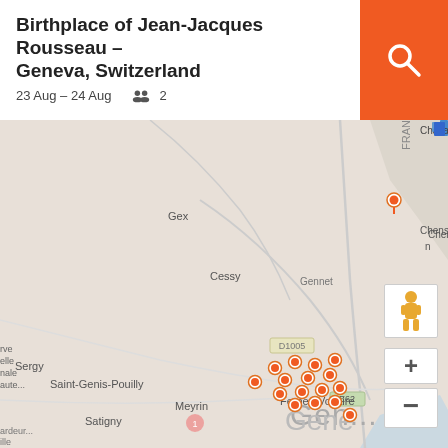Birthplace of Jean-Jacques Rousseau – Geneva, Switzerland
23 Aug – 24 Aug    2
[Figure (map): Map showing Geneva, Switzerland and surrounding areas including Chavannes-de-Bogis, Gex, Cessy, Ferney-Voltaire, Saint-Genis-Pouilly, Meyrin, Satigny, and Chens-sur-Léman. Multiple orange pins are clustered around Geneva city center, with one pin near Chavannes-de-Bogis.]